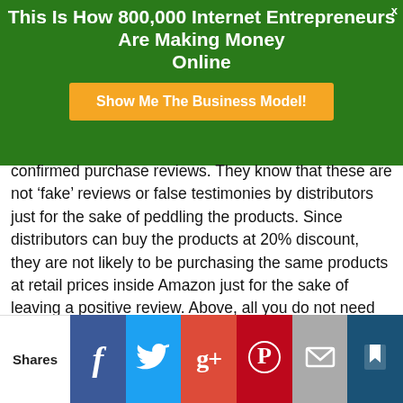This Is How 800,000 Internet Entrepreneurs Are Making Money Online
[Figure (other): Orange button with text 'Show Me The Business Model!']
confirmed purchase reviews. They know that these are not ‘fake’ reviews or false testimonies by distributors just for the sake of peddling the products. Since distributors can buy the products at 20% discount, they are not likely to be purchasing the same products at retail prices inside Amazon just for the sake of leaving a positive review. Above, all you do not need to worry about the teething delivery challenges that most people face when they purchase products from the company directly. Share your opinions and experience with Advocare in the commentary box below?
Posted in: Multi-Level Marketing Reviews | Tagged: advocare 24 day challenge, advocare apparel, advocare catalyst, advocare
[Figure (other): Social share bar with Facebook, Twitter, Google+, Pinterest, Email, and bookmark buttons]